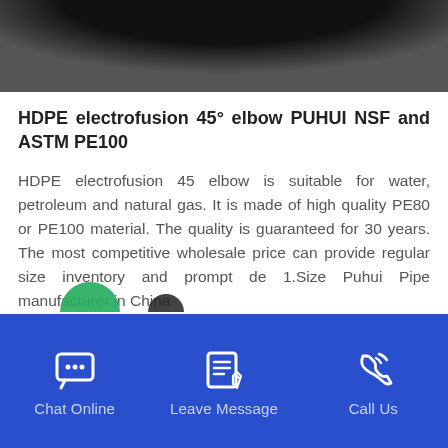[Figure (photo): Top portion of a dark/black HDPE electrofusion 45 degree elbow pipe fitting, photographed against a light surface.]
HDPE electrofusion 45° elbow PUHUI NSF and ASTM PE100
HDPE electrofusion 45 elbow is suitable for water, petroleum and natural gas. It is made of high quality PE80 or PE100 material. The quality is guaranteed for 30 years. The most competitive wholesale price can provide regular size inventory and prompt de 1.Size Puhui Pipe manufacturer in China
[Figure (screenshot): Bottom navigation bar with blue background showing three options: Chat Online (chat bubble icon), Leave Message (notepad/pen icon), and Call Us (phone icon).]